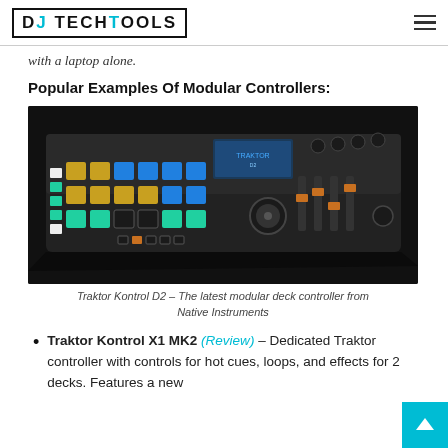DJ TECHTOOLS
with a laptop alone.
Popular Examples Of Modular Controllers:
[Figure (photo): Traktor Kontrol D2 modular deck controller on dark background, showing colorful pads, faders, knobs, and a screen]
Traktor Kontrol D2 – The latest modular deck controller from Native Instruments
Traktor Kontrol X1 MK2 (Review) – Dedicated Traktor controller with controls for hot cues, loops, and effects for 2 decks. Features a new